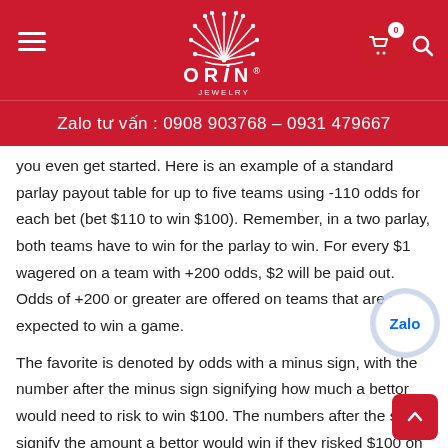ORIN® — Zalo tư vấn : 0908 903768 – 0931 479667
you even get started. Here is an example of a standard parlay payout table for up to five teams using -110 odds for each bet (bet $110 to win $100). Remember, in a two parlay, both teams have to win for the parlay to win. For every $1 wagered on a team with +200 odds, $2 will be paid out. Odds of +200 or greater are offered on teams that are not expected to win a game.
The favorite is denoted by odds with a minus sign, with the number after the minus sign signifying how much a bettor would need to risk to win $100. The numbers after the sign signify the amount a bettor would win if they risked $100 on that team. Jalen Hurts put the ball up only 17 time